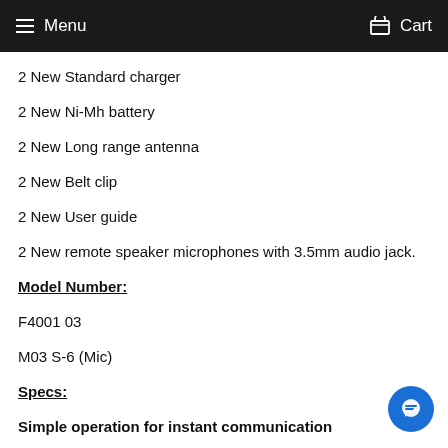Menu   Cart
2 New Standard charger
2 New Ni-Mh battery
2 New Long range antenna
2 New Belt clip
2 New User guide
2 New remote speaker microphones with 3.5mm audio jack.
Model Number:
F4001 03
M03 S-6 (Mic)
Specs:
Simple operation for instant communication